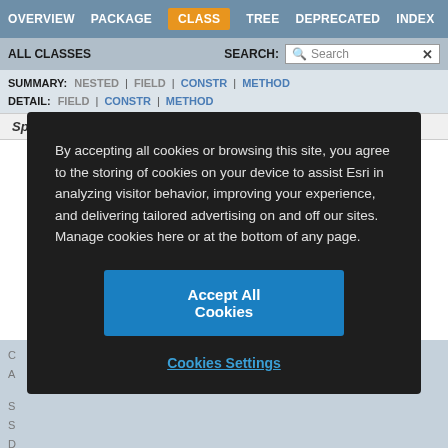OVERVIEW  PACKAGE  CLASS  TREE  DEPRECATED  INDEX
ALL CLASSES   SEARCH: Search
SUMMARY: NESTED | FIELD | CONSTR | METHOD
DETAIL: FIELD | CONSTR | METHOD
Specified By:
By accepting all cookies or browsing this site, you agree to the storing of cookies on your device to assist Esri in analyzing visitor behavior, improving your experience, and delivering tailored advertising on and off our sites. Manage cookies here or at the bottom of any page.
Accept All Cookies
Cookies Settings